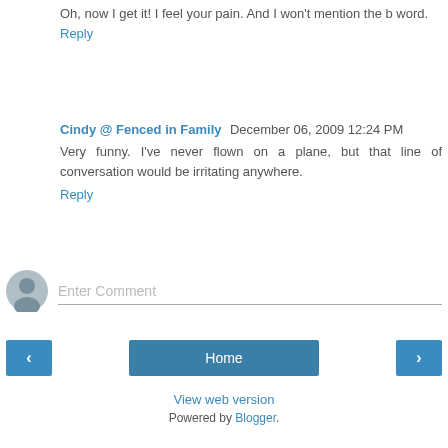Oh, now I get it! I feel your pain. And I won't mention the b word.
Reply
Cindy @ Fenced in Family  December 06, 2009 12:24 PM
Very funny. I've never flown on a plane, but that line of conversation would be irritating anywhere.
Reply
[Figure (other): Enter Comment input field with user avatar icon]
Home
View web version
Powered by Blogger.